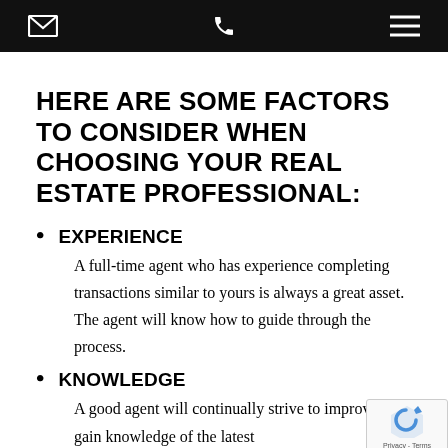[navigation bar with email, phone, and menu icons]
HERE ARE SOME FACTORS TO CONSIDER WHEN CHOOSING YOUR REAL ESTATE PROFESSIONAL:
EXPERIENCE — A full-time agent who has experience completing transactions similar to yours is always a great asset. The agent will know how to guide through the process.
KNOWLEDGE — A good agent will continually strive to improve and gain knowledge of the latest...